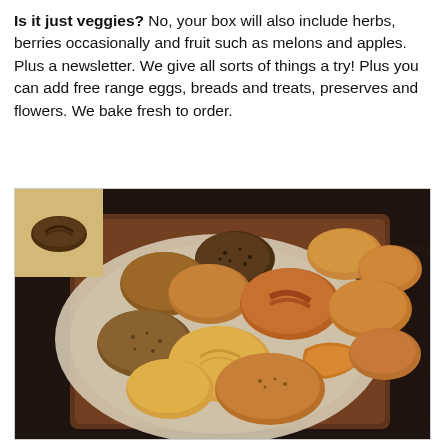Is it just veggies? No, your box will also include herbs, berries occasionally and fruit such as melons and apples. Plus a newsletter. We give all sorts of things a try! Plus you can add free range eggs, breads and treats, preserves and flowers. We bake fresh to order.
[Figure (photo): A wooden tray holding an assortment of various breads and bread rolls — including seeded rolls, croissants, pretzel rolls, and plain buns — arranged on a linen cloth on a dark wooden surface. A bakery logo badge appears in the top-left corner.]